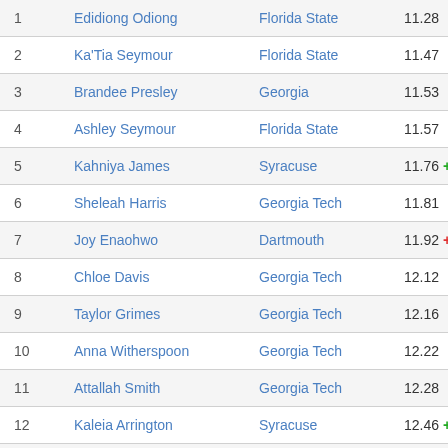|  | Athlete | School | Time |
| --- | --- | --- | --- |
| 1 | Edidiong Odiong | Florida State | 11.28 |
| 2 | Ka'Tia Seymour | Florida State | 11.47 |
| 3 | Brandee Presley | Georgia | 11.53 |
| 4 | Ashley Seymour | Florida State | 11.57 |
| 5 | Kahniya James | Syracuse | 11.76 + |
| 6 | Sheleah Harris | Georgia Tech | 11.81 |
| 7 | Joy Enaohwo | Dartmouth | 11.92 + + |
| 8 | Chloe Davis | Georgia Tech | 12.12 |
| 9 | Taylor Grimes | Georgia Tech | 12.16 |
| 10 | Anna Witherspoon | Georgia Tech | 12.22 |
| 11 | Attallah Smith | Georgia Tech | 12.28 |
| 12 | Kaleia Arrington | Syracuse | 12.46 + |
| 13 | Bridget McNally | Dartmouth | 12.54 + + |